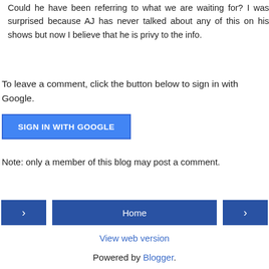Could he have been referring to what we are waiting for? I was surprised because AJ has never talked about any of this on his shows but now I believe that he is privy to the info.
Reply
To leave a comment, click the button below to sign in with Google.
[Figure (other): Blue 'SIGN IN WITH GOOGLE' button]
Note: only a member of this blog may post a comment.
[Figure (other): Navigation bar with left arrow, Home button, and right arrow]
View web version
Powered by Blogger.